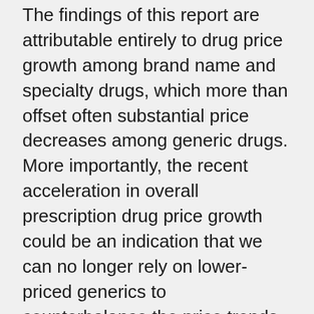The findings of this report are attributable entirely to drug price growth among brand name and specialty drugs, which more than offset often substantial price decreases among generic drugs. More importantly, the recent acceleration in overall prescription drug price growth could be an indication that we can no longer rely on lower-priced generics to counterbalance the price trends seen in the brand name and specialty prescription drug markets.
Our firm is dedicated to helping seniors and their loved ones work through issues and